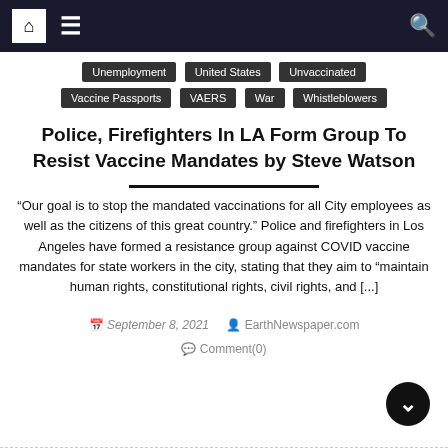Navigation bar with home, menu, and search icons
Unemployment
United States
Unvaccinated
Vaccine Passports
VAERS
War
Whistleblowers
Police, Firefighters In LA Form Group To Resist Vaccine Mandates by Steve Watson
“Our goal is to stop the mandated vaccinations for all City employees as well as the citizens of this great country.” Police and firefighters in Los Angeles have formed a resistance group against COVID vaccine mandates for state workers in the city, stating that they aim to “maintain human rights, constitutional rights, civil rights, and [...]
September 8, 2021  EarthNewspaper.com  Comment(0)